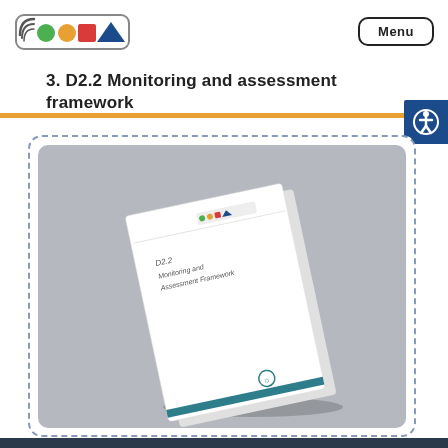Logo and Menu
3. D2.2 Monitoring and assessment framework
[Figure (photo): A physical document booklet tilted at an angle showing the cover of 'D2.2 Monitoring and Assessment Framework' with logos and decorative elements, displayed on a gray background inside a dashed-border rounded rectangle container.]